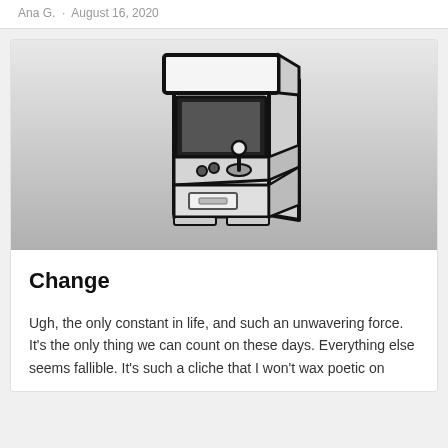Ana G.  •  August 16, 2020
[Figure (illustration): Black and white illustration of an arcade game cabinet with joystick and coin slot, on a gradient grey background]
Change
Ugh, the only constant in life, and such an unwavering force. It's the only thing we can count on these days. Everything else seems fallible. It's such a cliche that I won't wax poetic on